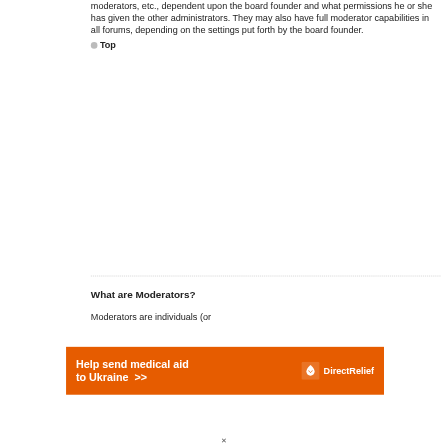moderators, etc., dependent upon the board founder and what permissions he or she has given the other administrators. They may also have full moderator capabilities in all forums, depending on the settings put forth by the board founder.
▸ Top
What are Moderators?
Moderators are individuals (or
[Figure (other): Direct Relief advertisement banner: orange background, white bold text 'Help send medical aid to Ukraine >>', Direct Relief logo with stylized bird/dove icon on the right.]